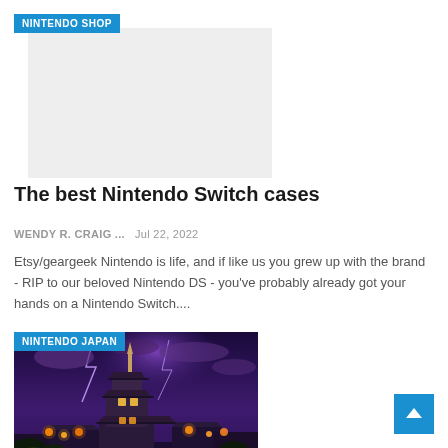[Figure (other): Nintendo Shop image placeholder (light gray rectangle)]
NINTENDO SHOP
The best Nintendo Switch cases
WENDY R. CRAIG ...   Jul 22, 2022
Etsy/geargeek Nintendo is life, and if like us you grew up with the brand - RIP to our beloved Nintendo DS - you've probably already got your hands on a Nintendo Switch....
[Figure (photo): Nintendo Japan - nighttime scene of a Japanese castle town with purple sky and warm glowing lights, stylized illustration]
NINTENDO JAPAN